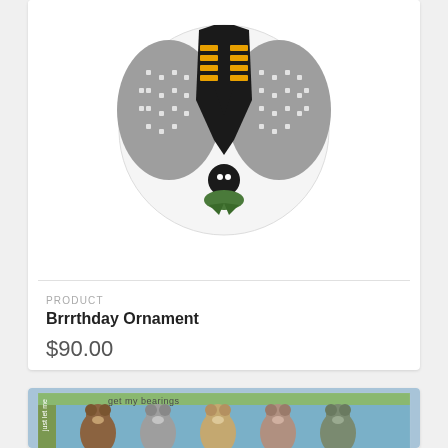[Figure (photo): Cross-stitch needlepoint ornament showing a penguin from above, holding a small baby penguin. Gray and black colors with white dots, yellow beak markings. Circular canvas shape.]
PRODUCT
Brrrthday Ornament
$90.00
[Figure (photo): Cross-stitch needlepoint canvas showing a row of bears with text 'just let me get my bearings' on a blue background with green accents. Rectangular format.]